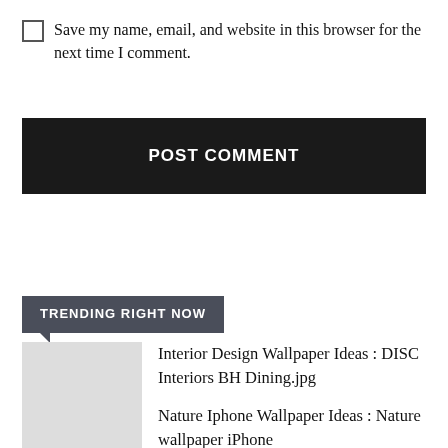Save my name, email, and website in this browser for the next time I comment.
POST COMMENT
TRENDING RIGHT NOW
Interior Design Wallpaper Ideas : DISC Interiors BH Dining.jpg
Nature Iphone Wallpaper Ideas : Nature wallpaper iPhone